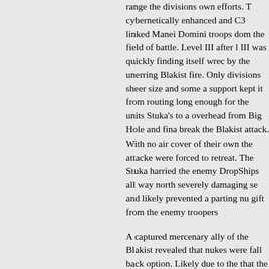range the divisions own efforts. The cybernetically enhanced and C3 linked Manei Domini troops dom the field of battle. Level III after l III was quickly finding itself wrecl by the unerring Blakist fire. Only divisions sheer size and some a support kept it from routing long enough for the units Stuka's to a overhead from Big Hole and fina break the Blakist attack. With no air cover of their own the attacke were forced to retreat. The Stuka harried the enemy DropShips all way north severely damaging se and likely prevented a parting nu gift from the enemy troopers
A captured mercenary ally of the Blakist revealed that nukes were fall back option. Likely due to the that the Word of Blake had nuke more units to call on in the North